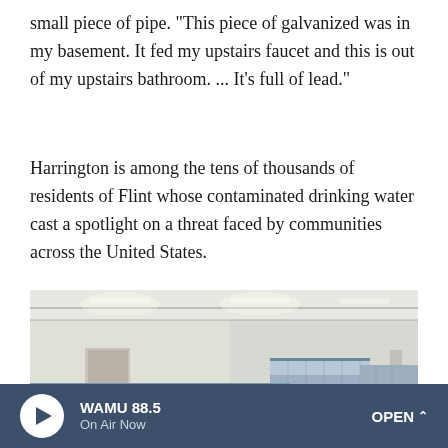small piece of pipe. "This piece of galvanized was in my basement. It fed my upstairs faucet and this is out of my upstairs bathroom. ... It's full of lead."
Harrington is among the tens of thousands of residents of Flint whose contaminated drinking water cast a spotlight on a threat faced by communities across the United States.
[Figure (photo): A large warehouse interior filled floor-to-ceiling with pallets of bottled water cases. A person stands in the lower right corner. Fluorescent lights illuminate the high ceiling with exposed metal trusses.]
WAMU 88.5 On Air Now OPEN ^